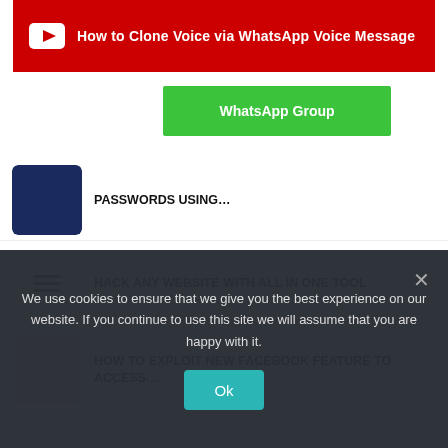[Figure (screenshot): Red YouTube banner with play button icon and text 'How to Clone Voice via WhatsApp Voice Message']
[Figure (screenshot): Green WhatsApp Group button]
PASSWORDS USING…
HACK ANY WEBSITE WITH ALL IN ONE TOOL
HOW TO EXPLOIT NEW FACEBOOK FEATURE TO ACCESS…
CREATE YOUR OWN BOTNET (STEP BY STEP TUTORIAL)
HACK WINDOWS, ANDROID, MAC USING THEFATRAT (STEP BY…
REVENGE YOUR NEIGHBOR'S PARTY BY JAMMING
We use cookies to ensure that we give you the best experience on our website. If you continue to use this site we will assume that you are happy with it.
Ok